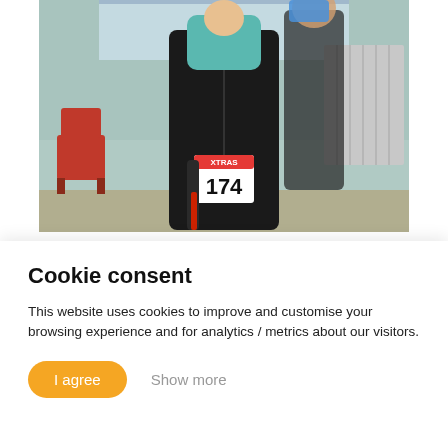[Figure (photo): A person wearing a black jacket and a race bib numbered 174, standing in an indoor room with a red chair on the left and a radiator on the right. The room has light teal/green walls. Another person is partially visible behind.]
Please support Phil. Your support makes it all worth his while
Cookie consent
This website uses cookies to improve and customise your browsing experience and for analytics / metrics about our visitors.
I agree  Show more